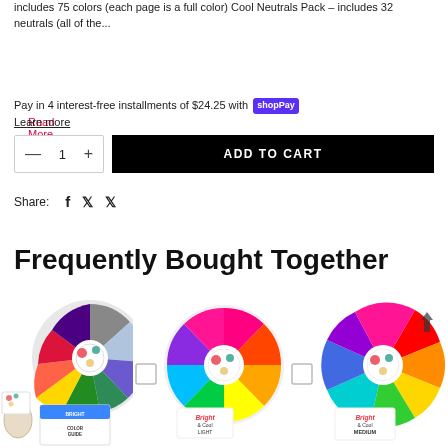includes 75 colors (each page is a full color) Cool Neutrals Pack – includes 32 neutrals (all of the...
Read More
Pay in 4 interest-free installments of $24.25 with Shop Pay
Learn more
— 1 + ADD TO CART
Share: f 🐦 P
Frequently Bought Together
[Figure (photo): Three color fan decks/swatches fanned out in circular arrangements: left shows Bright Cool Deep Color Guide with mixed cool deep swatches and a small booklet; center shows Bright & Cool Light swatches in bright colors; right shows Bright & Cool Medium swatches. Between each pair is a small checkbox/plus indicator.]